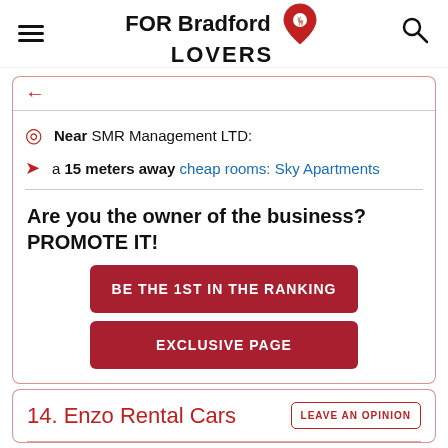FOR Bradford LOVERS
Near SMR Management LTD:
a 15 meters away cheap rooms: Sky Apartments
Are you the owner of the business? PROMOTE IT!
BE THE 1ST IN THE RANKING
EXCLUSIVE PAGE
14. Enzo Rental Cars
LEAVE AN OPINION